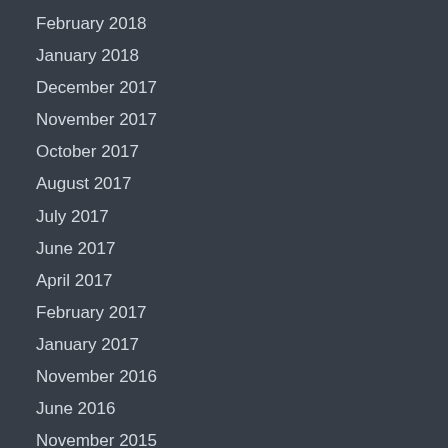February 2018
January 2018
December 2017
November 2017
October 2017
August 2017
July 2017
June 2017
April 2017
February 2017
January 2017
November 2016
June 2016
November 2015
October 2015
July 2015
June 2015